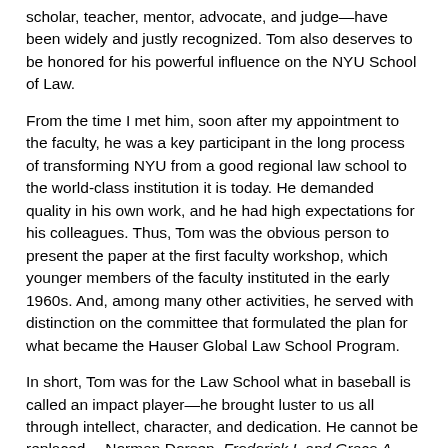scholar, teacher, mentor, advocate, and judge—have been widely and justly recognized. Tom also deserves to be honored for his powerful influence on the NYU School of Law.
From the time I met him, soon after my appointment to the faculty, he was a key participant in the long process of transforming NYU from a good regional law school to the world-class institution it is today. He demanded quality in his own work, and he had high expectations for his colleagues. Thus, Tom was the obvious person to present the paper at the first faculty workshop, which younger members of the faculty instituted in the early 1960s. And, among many other activities, he served with distinction on the committee that formulated the plan for what became the Hauser Global Law School Program.
In short, Tom was for the Law School what in baseball is called an impact player—he brought luster to us all through intellect, character, and dedication. He cannot be replaced.—Norman Dorsen, Frederick I. and Grace A. Stokes Professor of Law
—